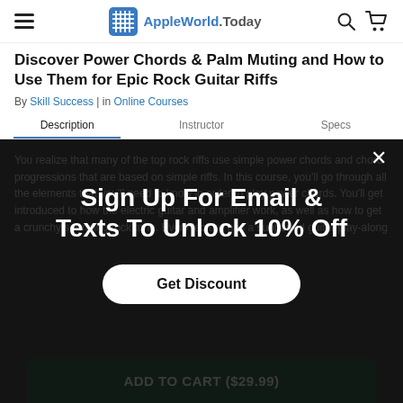AppleWorld.Today
Discover Power Chords & Palm Muting and How to Use Them for Epic Rock Guitar Riffs
By Skill Success | in Online Courses
Description | Instructor | Specs
You realize that many of the top rock riffs use simple power chords and chord progressions that are based on simple riffs. In this course, you'll go through all the elements that you'll need to know in order to play power chords. You'll get introduced to how the electric guitar and amplifier work, as well as how to get a crunchy sounding rock tone. Every lecture has a supported guitar play-along
Sign Up For Email & Texts To Unlock 10% Off
Get Discount
ADD TO CART ($29.99)